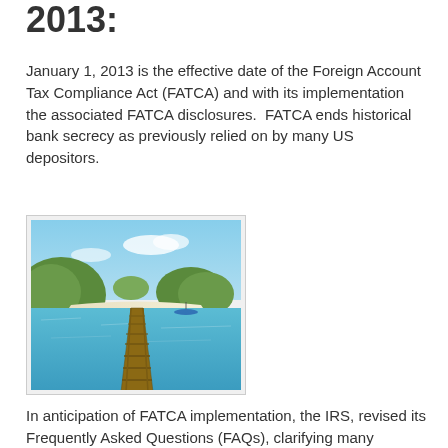2013:
January 1, 2013 is the effective date of the Foreign Account Tax Compliance Act (FATCA) and with its implementation the associated FATCA disclosures.  FATCA ends historical bank secrecy as previously relied on by many US depositors.
[Figure (photo): A wooden pier/dock extending over clear turquoise water toward tropical islands with green hills in the background and blue sky.]
In anticipation of FATCA implementation, the IRS, revised its Frequently Asked Questions (FAQs), clarifying many uncertainties in the current OVDP, tightening some areas and relaxing others. In addition, the IRS released, updated versions of some of the documentation that taxpayers will be required to file as a part of their acceptance into the OVDP.
The clarifications establish that the OVDP is available to taxpayers who have both offshore and domestic issues that require disclosure. Additionally, the IRS clarified which years are to be included or covered in the required eight-year